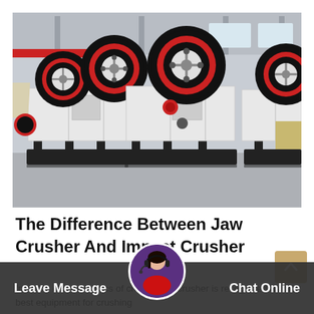[Figure (photo): Industrial jaw crusher machines in a factory/warehouse setting. Multiple large crushing machines with prominent black and red flywheel discs mounted on white frames with black bases, arranged on a factory floor.]
The Difference Between Jaw Crusher And Impact Crusher
from the characteristics of crusher jaw crusher is recognized as the best equipment for crushing
Leave Message  Chat Online